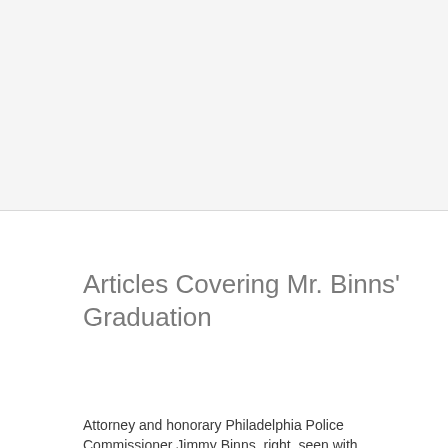[Figure (photo): Blank/white image placeholder area at the top of the page]
Articles Covering Mr. Binns' Graduation
Attorney and honorary Philadelphia Police Commissioner Jimmy Binns, right, seen with Philadelphia Police Commissioner Charles